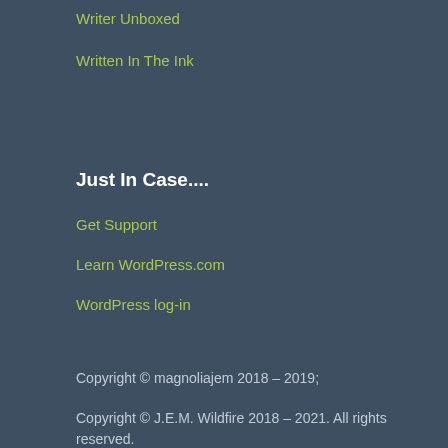Writer Unboxed
Written In The Ink
Just In Case....
Get Support
Learn WordPress.com
WordPress log-in
Copyright © magnoliajem 2018 – 2019;
Copyright © J.E.M. Wildfire 2018 – 2021.  All rights reserved.